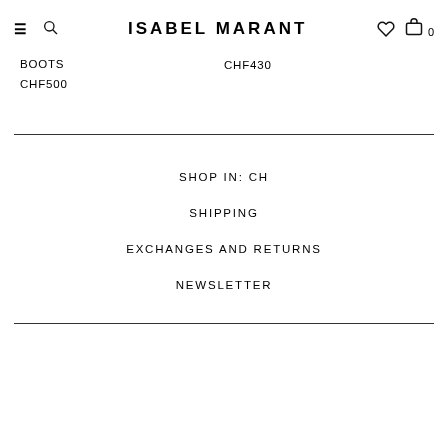ISABEL MARANT
BOOTS
CHF500
CHF430
SHOP IN: CH
SHIPPING
EXCHANGES AND RETURNS
NEWSLETTER